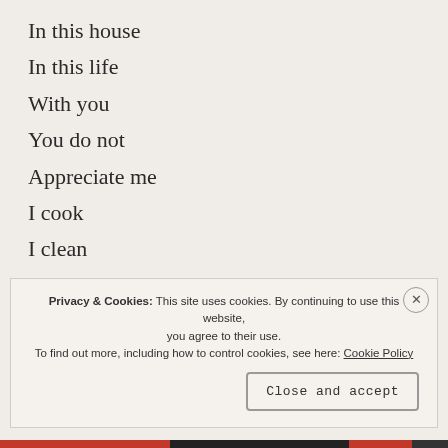In this house
In this life
With you
You do not
Appreciate me
I cook
I clean
I do everything
To keep
This famil…
Privacy & Cookies: This site uses cookies. By continuing to use this website, you agree to their use. To find out more, including how to control cookies, see here: Cookie Policy
Close and accept